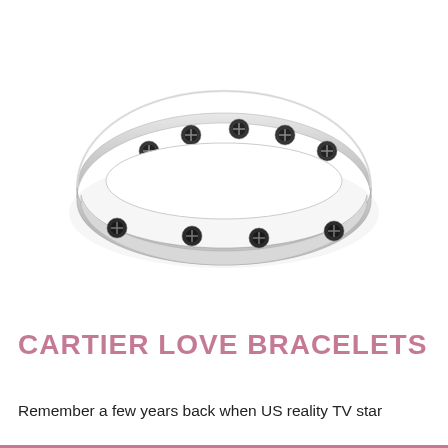[Figure (photo): A Cartier Love bracelet in white gold with pave diamond setting and signature screw motifs, photographed on a white background. The bangle is oval-shaped with rows of diamonds studded along the front and circular screw head embellishments spaced evenly around the band.]
CARTIER LOVE BRACELETS
Remember a few years back when US reality TV star